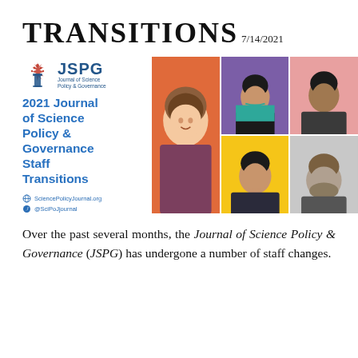TRANSITIONS
7/14/2021
[Figure (photo): JSPG logo with title '2021 Journal of Science Policy & Governance Staff Transitions' and website links, alongside a 3x2 grid of headshots of six staff members on colorful backgrounds.]
Over the past several months, the Journal of Science Policy & Governance (JSPG) has undergone a number of staff changes.